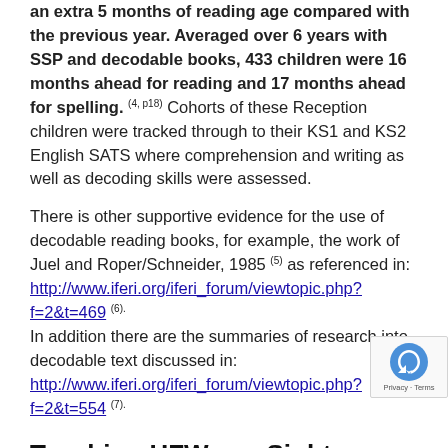an extra 5 months of reading age compared with the previous year. Averaged over 6 years with SSP and decodable books, 433 children were 16 months ahead for reading and 17 months ahead for spelling. (4, p18) Cohorts of these Reception children were tracked through to their KS1 and KS2 English SATS where comprehension and writing as well as decoding skills were assessed.
There is other supportive evidence for the use of decodable reading books, for example, the work of Juel and Roper/Schneider, 1985 (5) as referenced in: http://www.iferi.org/iferi_forum/viewtopic.php?f=2&t=469 (6). In addition there are the summaries of research into decodable text discussed in: http://www.iferi.org/iferi_forum/viewtopic.php?f=2&t=554 (7).
Teaching HFWs as Sight Words
Optima proposes teaching the 100 most frequently occurring